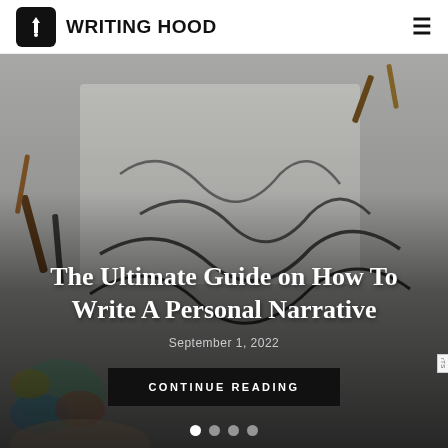WRITING HOOD
[Figure (photo): Background photo of calligraphy writing with ink pens, watercolor art supplies, and handwritten script text on paper. Dark gradient overlay applied. Hero banner image for a writing blog.]
The Ultimate Guide on How To Write A Personal Narrative
September 1, 2022
CONTINUE READING